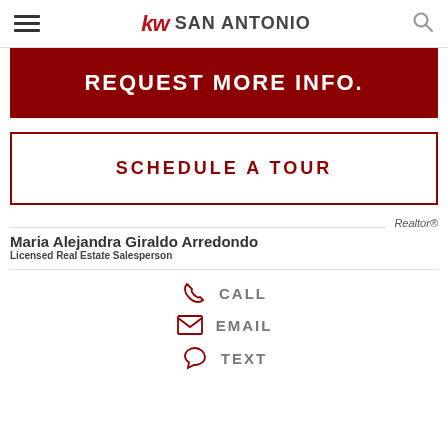kw SAN ANTONIO
REQUEST MORE INFO.
SCHEDULE A TOUR
Realtor®
Maria Alejandra Giraldo Arredondo
Licensed Real Estate Salesperson
CALL
EMAIL
TEXT